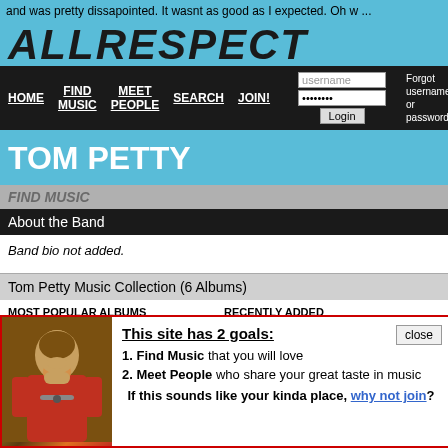and was pretty dissapointed. It wasnt as good as I expected. Oh w ...
[Figure (logo): ALLRESPECT website logo in stencil-style black bold italic text on cyan/blue background]
[Figure (screenshot): Navigation bar with HOME, FIND MUSIC, MEET PEOPLE, SEARCH, JOIN! links and login form with username/password fields and Login button, Forgot username or password? text]
TOM PETTY
FIND MUSIC
About the Band
Band bio not added.
Tom Petty Music Collection (6 Albums)
MOST POPULAR ALBUMS
wildflowers - Owned by 2 members
RECENTLY ADDED
[Songs And Music ...
[Figure (photo): Photo of a young male singer performing with a microphone]
This site has 2 goals: 1. Find Music that you will love 2. Meet People who share your great taste in music If this sounds like your kinda place, why not join?